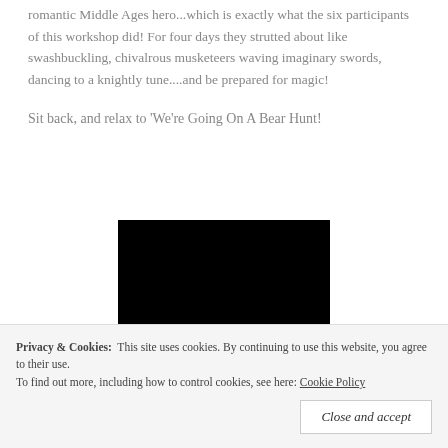romantic Middle Ages hero...which is exactly what the six participants of this workshop did! For four days they strutted about like swashbuckling, chivalrous musketeers waving imaginary swords, dancing to a knightly tune....and be prepared for magic!
Sit back, and relax to 'We're Going On A Bear Hunt!
[Figure (screenshot): Embedded video player showing a black screen (video content not visible), with a play button at the bottom.]
Privacy & Cookies: This site uses cookies. By continuing to use this website, you agree to their use. To find out more, including how to control cookies, see here: Cookie Policy
Close and accept